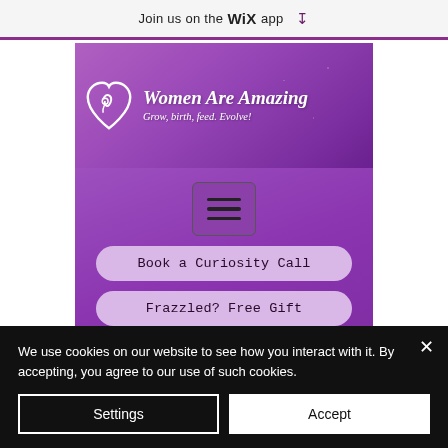Join us on the WiX app ↓
[Figure (screenshot): Women Are Amazing website screenshot showing purple branded header with heart logo, tagline 'Grow, birth, feed. Evolve!', hamburger menu button, two CTA buttons 'Book a Curiosity Call' and 'Frazzled? Free Gift', and partial text 'Transformational' at bottom]
We use cookies on our website to see how you interact with it. By accepting, you agree to our use of such cookies.
Settings
Accept